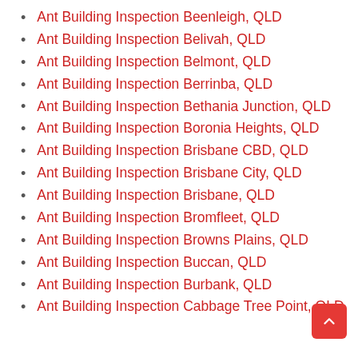Ant Building Inspection Beenleigh, QLD
Ant Building Inspection Belivah, QLD
Ant Building Inspection Belmont, QLD
Ant Building Inspection Berrinba, QLD
Ant Building Inspection Bethania Junction, QLD
Ant Building Inspection Boronia Heights, QLD
Ant Building Inspection Brisbane CBD, QLD
Ant Building Inspection Brisbane City, QLD
Ant Building Inspection Brisbane, QLD
Ant Building Inspection Bromfleet, QLD
Ant Building Inspection Browns Plains, QLD
Ant Building Inspection Buccan, QLD
Ant Building Inspection Burbank, QLD
Ant Building Inspection Cabbage Tree Point, QLD